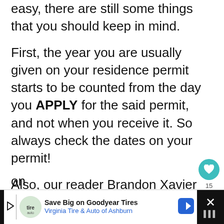easy, there are still some things that you should keep in mind.
First, the year you are usually given on your residence permit starts to be counted from the day you APPLY for the said permit, and not when you receive it. So always check the dates on your permit!
Also, our reader Brandon Xavier shared this experience with us (it was on a different article that was merged with this on
[Figure (other): Social share UI: teal heart button with count 15, and a share icon below]
[Figure (other): Advertisement banner: Save Big on Goodyear Tires - Virginia Tire & Auto of Ashburn, with logo, blue diamond arrow, and close button]